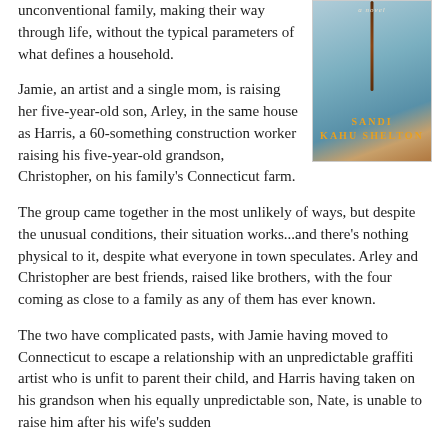unconventional family, making their way through life, without the typical parameters of what defines a household.
[Figure (photo): Book cover of a novel by Sandi Kahu Shelton, showing a person's back with a rosary/bead necklace, wearing a blue garment.]
Jamie, an artist and a single mom, is raising her five-year-old son, Arley, in the same house as Harris, a 60-something construction worker raising his five-year-old grandson, Christopher, on his family's Connecticut farm.
The group came together in the most unlikely of ways, but despite the unusual conditions, their situation works...and there's nothing physical to it, despite what everyone in town speculates. Arley and Christopher are best friends, raised like brothers, with the four coming as close to a family as any of them has ever known.
The two have complicated pasts, with Jamie having moved to Connecticut to escape a relationship with an unpredictable graffiti artist who is unfit to parent their child, and Harris having taken on his grandson when his equally unpredictable son, Nate, is unable to raise him after his wife's sudden death. For Harris, it was a matter of right; his son-in-law's...